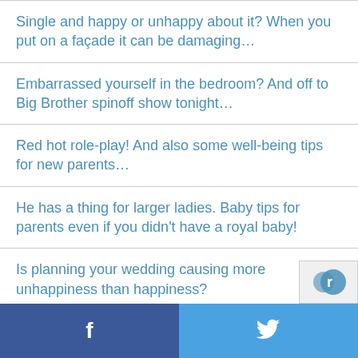Single and happy or unhappy about it? When you put on a façade it can be damaging…
Embarrassed yourself in the bedroom? And off to Big Brother spinoff show tonight…
Red hot role-play! And also some well-being tips for new parents…
He has a thing for larger ladies. Baby tips for parents even if you didn't have a royal baby!
Is planning your wedding causing more unhappiness than happiness?
f    🐦